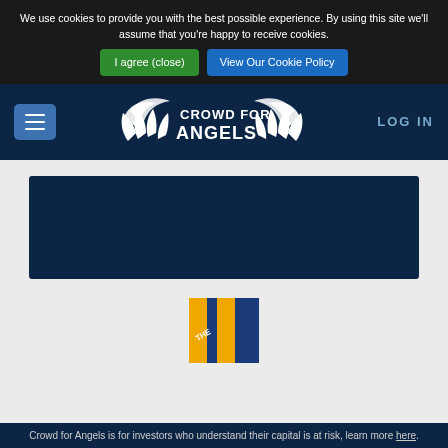We use cookies to provide you with the best possible experience. By using this site we'll assume that you're happy to receive cookies.
I agree (close)
View Our Cookie Policy
[Figure (logo): Crowd for Angels logo with wings and text, LOG IN link]
[Figure (illustration): Dark navy rectangular banner area]
[Figure (logo): Partial logo/badge visible at bottom with blue and gold striped design]
Crowd for Angels is for investors who understand their capital is at risk, learn more here.